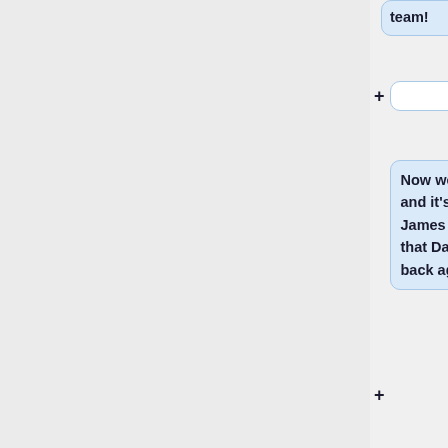team!
Now we break for holidays and it's also the last day that James was with us. We hope that Daisy and him can come back again in September!
"""8th July 2010"""
A few of us who